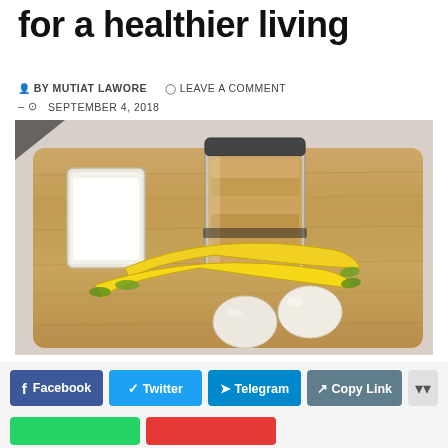for a healthier living
BY MUTIAT LAWORE   LEAVE A COMMENT
– SEPTEMBER 4, 2018
[Figure (photo): Overhead photo on a wooden cutting board showing: a glass of milk (left), a large mason jar filled with oats (center), two yellow bananas, and two white eggs, arranged on a warm-toned wooden board against a light background.]
Facebook   Twitter   Telegram   Copy Link